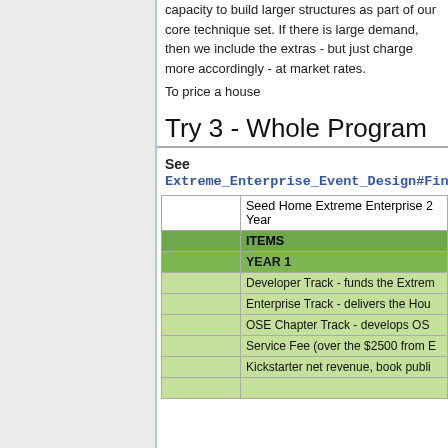capacity to build larger structures as part of our core technique set. If there is large demand, then we include the extras - but just charge more accordingly - at market rates.
To price a house
Try 3 - Whole Program
See
Extreme_Enterprise_Event_Design#Fina
|  | Seed Home Extreme Enterprise 2 Year |
| --- | --- |
|  | ITEMS |
|  | YEAR 1 |
|  | Developer Track - funds the Extrem |
|  | Enterprise Track - delivers the Hou |
|  | OSE Chapter Track - develops OS |
|  | Service Fee (over the $2500 from E |
|  | Kickstarter net revenue, book publi |
|  |  |